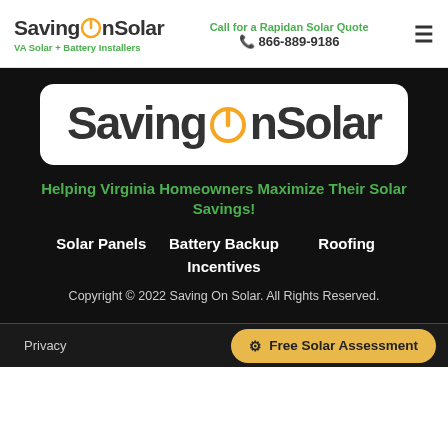SavingOnSolar — VA Solar + Battery Installers | Call for a Rapidan Solar Quote 866-889-9186
[Figure (logo): SavingOnSolar large logo in white rounded rectangle box with orange power-button O icon]
Helping Virginia Homeowners Maximize Their Solar Savings!
Solar Panels
Battery Backup
Roofing
Incentives
Copyright © 2022 Saving On Solar. All Rights Reserved.
Privacy | Free Solar Assessment